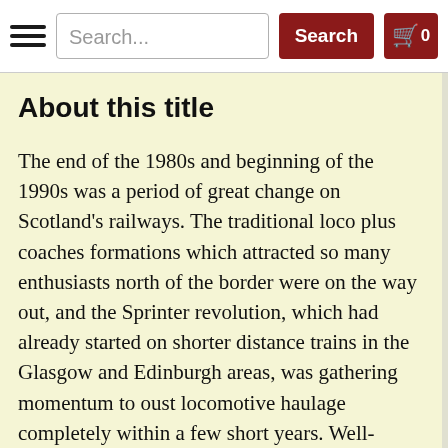Search... Search 0
About this title
The end of the 1980s and beginning of the 1990s was a period of great change on Scotland's railways. The traditional loco plus coaches formations which attracted so many enthusiasts north of the border were on the way out, and the Sprinter revolution, which had already started on shorter distance trains in the Glasgow and Edinburgh areas, was gathering momentum to oust locomotive haulage completely within a few short years. Well-known photographer Roger Siviter made several trips to Scotland to document the changing scene, attracted not only